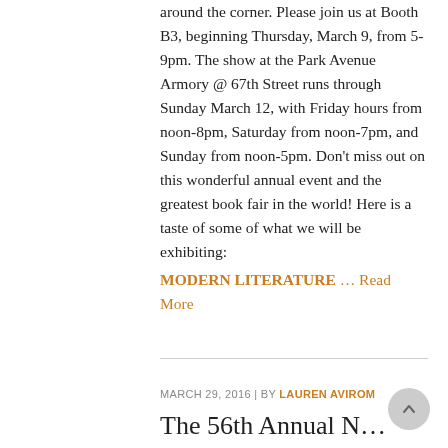around the corner. Please join us at Booth B3, beginning Thursday, March 9, from 5-9pm. The show at the Park Avenue Armory @ 67th Street runs through Sunday March 12, with Friday hours from noon-8pm, Saturday from noon-7pm, and Sunday from noon-5pm. Don't miss out on this wonderful annual event and the greatest book fair in the world! Here is a taste of some of what we will be exhibiting:
MODERN LITERATURE … Read More
MARCH 29, 2016 | BY LAUREN AVIROM
The 56th Annual N…